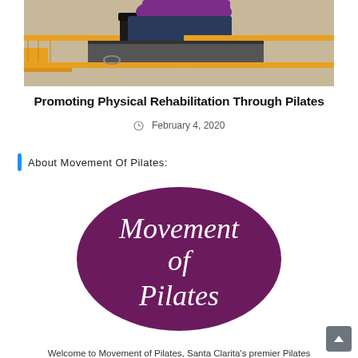[Figure (photo): Person using a Pilates reformer machine with yellow frame, viewed from above; hands and workout clothing visible]
Promoting Physical Rehabilitation Through Pilates
February 4, 2020
About Movement Of Pilates:
[Figure (logo): Dark purple ellipse logo with white italic text reading 'Movement of Pilates']
Welcome to Movement of Pilates, Santa Clarita's premier Pilates